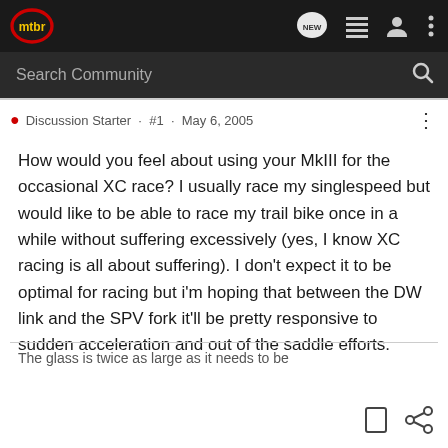[Figure (logo): mtbr logo — red and dark circle with 'mtbr' text in yellow]
Search Community
Discussion Starter · #1 · May 6, 2005
How would you feel about using your MkIII for the occasional XC race? I usually race my singlespeed but would like to be able to race my trail bike once in a while without suffering excessively (yes, I know XC racing is all about suffering). I don't expect it to be optimal for racing but i'm hoping that between the DW link and the SPV fork it'll be pretty responsive to sudden acceleration and out of the saddle efforts.
The glass is twice as large as it needs to be